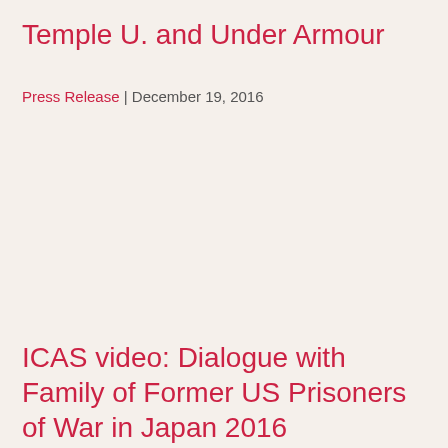Temple U. and Under Armour
Press Release | December 19, 2016
ICAS video: Dialogue with Family of Former US Prisoners of War in Japan 2016